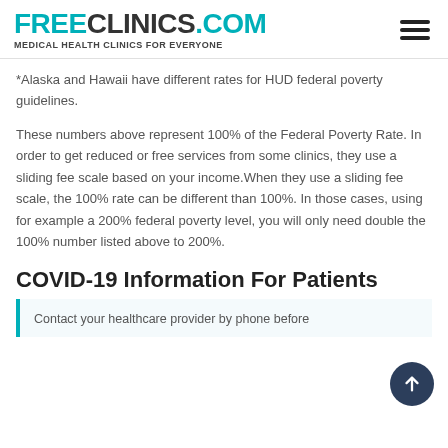FREECLINICS.COM - Medical Health Clinics For Everyone
*Alaska and Hawaii have different rates for HUD federal poverty guidelines.
These numbers above represent 100% of the Federal Poverty Rate. In order to get reduced or free services from some clinics, they use a sliding fee scale based on your income.When they use a sliding fee scale, the 100% rate can be different than 100%. In those cases, using for example a 200% federal poverty level, you will only need double the 100% number listed above to 200%.
COVID-19 Information For Patients
Contact your healthcare provider by phone before